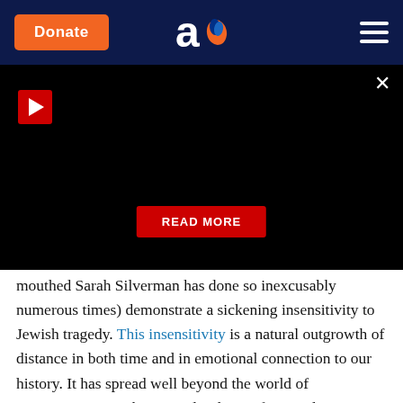Donate | [aish logo] | [menu]
[Figure (screenshot): Black video panel with a red play button in top left, an X close button in top right, and a red READ MORE button centered at bottom]
mouthed Sarah Silverman has done so inexcusably numerous times) demonstrate a sickening insensitivity to Jewish tragedy. This insensitivity is a natural outgrowth of distance in both time and in emotional connection to our history. It has spread well beyond the world of entertainment. In the apparel industry, five- and six-pointed yellow stars have appeared on shirts – some of them striped – were released by Gymboree, Miu Miu and Urban Outfitters. In 2014, Zara released a similar garment that was quickly dubbed a